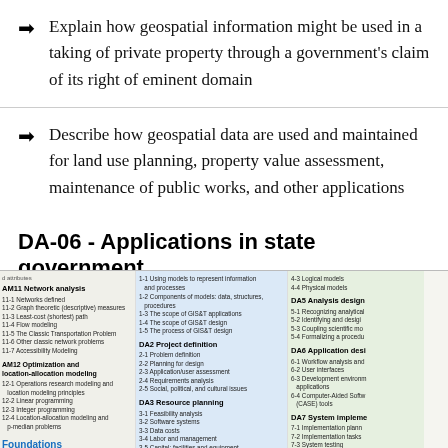Explain how geospatial information might be used in a taking of private property through a government's claim of its right of eminent domain
Describe how geospatial data are used and maintained for land use planning, property value assessment, maintenance of public works, and other applications
DA-06 - Applications in state government
[Figure (other): A cropped view of a GIS Body of Knowledge table of contents showing knowledge areas including AM11 Network analysis, AM12 Optimization and location-allocation modeling, DA2 Project definition, DA3 Resource planning, DA5 Analysis design, DA6 Application design, DA7 System implementation, and Foundations. Columns are color-coded with blue and green backgrounds.]